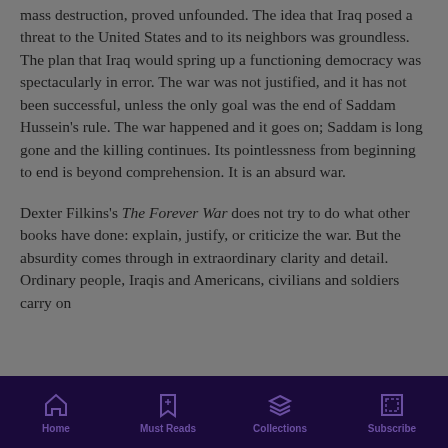mass destruction, proved unfounded. The idea that Iraq posed a threat to the United States and to its neighbors was groundless. The plan that Iraq would spring up a functioning democracy was spectacularly in error. The war was not justified, and it has not been successful, unless the only goal was the end of Saddam Hussein's rule. The war happened and it goes on; Saddam is long gone and the killing continues. Its pointlessness from beginning to end is beyond comprehension. It is an absurd war.
Dexter Filkins's The Forever War does not try to do what other books have done: explain, justify, or criticize the war. But the absurdity comes through in extraordinary clarity and detail. Ordinary people, Iraqis and Americans, civilians and soldiers carry on
Home | Must Reads | Collections | Subscribe